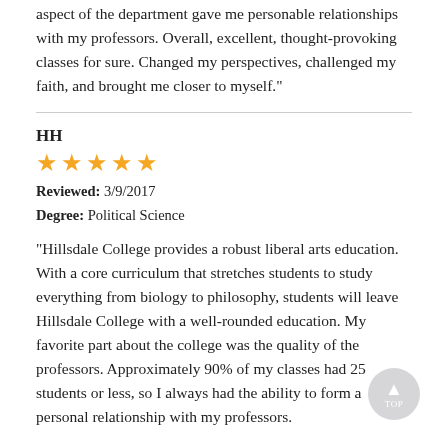aspect of the department gave me personable relationships with my professors. Overall, excellent, thought-provoking classes for sure. Changed my perspectives, challenged my faith, and brought me closer to myself."
HH
★★★★★ (5 stars)
Reviewed: 3/9/2017
Degree: Political Science
"Hillsdale College provides a robust liberal arts education. With a core curriculum that stretches students to study everything from biology to philosophy, students will leave Hillsdale College with a well-rounded education. My favorite part about the college was the quality of the professors. Approximately 90% of my classes had 25 students or less, so I always had the ability to form a personal relationship with my professors.